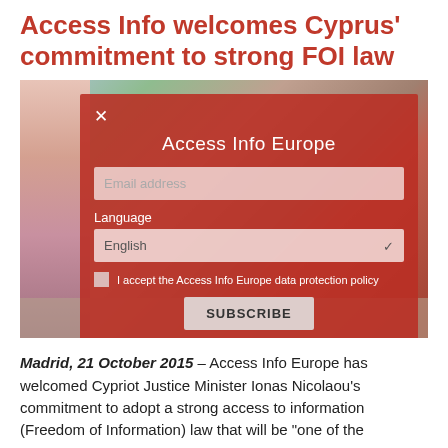Access Info welcomes Cyprus' commitment to strong FOI law
[Figure (screenshot): Screenshot of a website showing a red newsletter subscription overlay popup from Access Info Europe over a background photo. The popup has fields for Email address, Language (set to English), a checkbox to accept the data protection policy, and a SUBSCRIBE button.]
Madrid, 21 October 2015 – Access Info Europe has welcomed Cypriot Justice Minister Ionas Nicolaou's commitment to adopt a strong access to information (Freedom of Information) law that will be "one of the